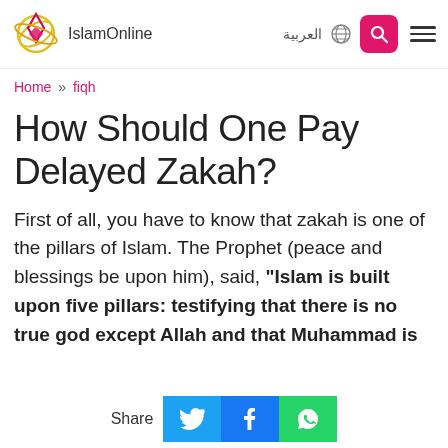IslamOnline | العربية
Home » fiqh
How Should One Pay Delayed Zakah?
First of all, you have to know that zakah is one of the pillars of Islam. The Prophet (peace and blessings be upon him), said, "Islam is built upon five pillars: testifying that there is no true god except Allah and that Muhammad is
Share [Twitter] [Facebook] [WhatsApp]